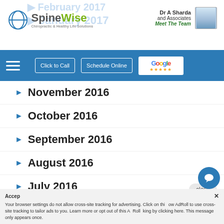SpineWise — Dr A Sharda and Associates — Meet The Team
November 2016
October 2016
September 2016
August 2016
July 2016
June 2016
May 2016
[Figure (screenshot): Chat popup bubble: 'Have a question? Click and we'll send you a special just for asking!' with agent avatar and close button]
Your browser settings do not allow cross-site tracking for advertising. Click on this to allow AdRoll to use cross-site tracking to tailor ads to you. Learn more or opt out of this AdRoll tracking by clicking here. This message only appears once.